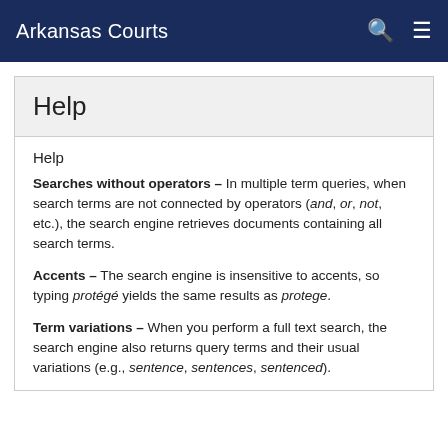Arkansas Courts
Help
Help
Searches without operators – In multiple term queries, when search terms are not connected by operators (and, or, not, etc.), the search engine retrieves documents containing all search terms.
Accents – The search engine is insensitive to accents, so typing protégé yields the same results as protege.
Term variations – When you perform a full text search, the search engine also returns query terms and their usual variations (e.g., sentence, sentences, sentenced).